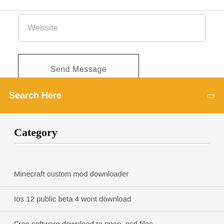Website
Send Message
Search Here
Category
Minecraft custom mod downloader
Ios 12 public beta 4 wont download
Free software download to open .psd files